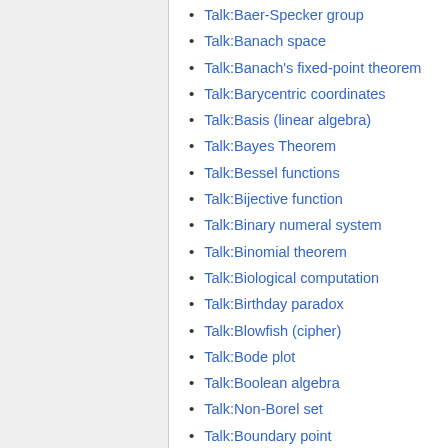Talk:Baer-Specker group
Talk:Banach space
Talk:Banach's fixed-point theorem
Talk:Barycentric coordinates
Talk:Basis (linear algebra)
Talk:Bayes Theorem
Talk:Bessel functions
Talk:Bijective function
Talk:Binary numeral system
Talk:Binomial theorem
Talk:Biological computation
Talk:Birthday paradox
Talk:Blowfish (cipher)
Talk:Bode plot
Talk:Boolean algebra
Talk:Non-Borel set
Talk:Boundary point
Talk:Bounded set
Talk:Bra-ket notation
Talk:Bra-Ticino...